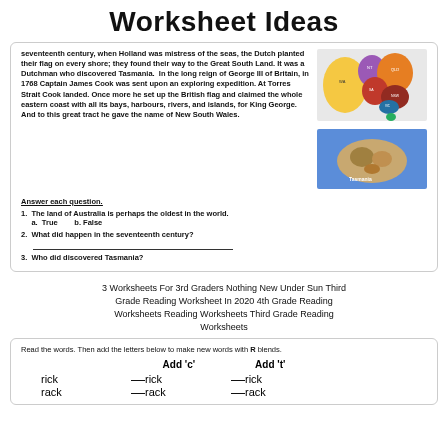Worksheet Ideas
seventeenth century, when Holland was mistress of the seas, the Dutch planted their flag on every shore; they found their way to the Great South Land. It was a Dutchman who discovered Tasmania. In the long reign of George III of Britain, in 1768 Captain James Cook was sent upon an exploring expedition. At Torres Strait Cook landed. Once more he set up the British flag and claimed the whole eastern coast with all its bays, harbours, rivers, and islands, for King George. And to this great tract he gave the name of New South Wales.
[Figure (map): Colorful map of Australia showing states in different colors]
[Figure (photo): Image of Tasmania island]
Answer each question.
1. The land of Australia is perhaps the oldest in the world.
   a. True   b. False
2. What did happen in the seventeenth century?
3. Who did discovered Tasmania?
3 Worksheets For 3rd Graders Nothing New Under Sun Third Grade Reading Worksheet In 2020 4th Grade Reading Worksheets Reading Worksheets Third Grade Reading Worksheets
Read the words. Then add the letters below to make new words with R blends.
Add 'c'   Add 't'
rick   __rick   __rick
rack   __rack   __rack